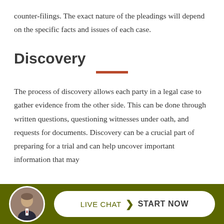counter-filings. The exact nature of the pleadings will depend on the specific facts and issues of each case.
Discovery
The process of discovery allows each party in a legal case to gather evidence from the other side. This can be done through written questions, questioning witnesses under oath, and requests for documents. Discovery can be a crucial part of preparing for a trial and can help uncover important information that may
[Figure (infographic): Footer bar with olive/dark green background containing a circular headshot of a man in a suit, and a white pill-shaped button reading LIVE CHAT > START NOW]